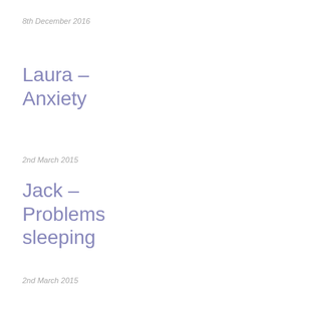8th December 2016
Laura – Anxiety
2nd March 2015
Jack – Problems sleeping
2nd March 2015
Rebecca – Dealing with stress
2nd March 2015
Blog Posts
Living The Thoughts We